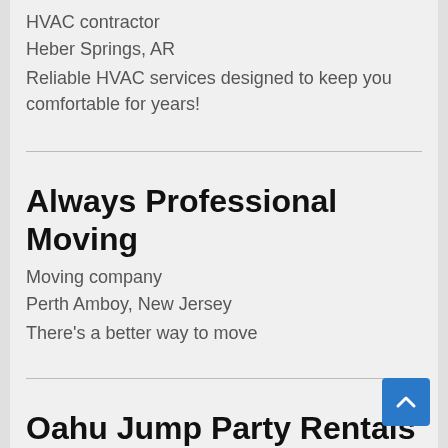HVAC contractor
Heber Springs, AR
Reliable HVAC services designed to keep you comfortable for years!
Always Professional Moving
Moving company
Perth Amboy, New Jersey
There's a better way to move
Oahu Jump Party Rentals
Party equipment rental service
Waipahu, Hawaii